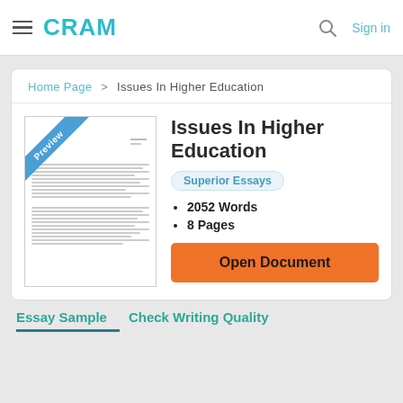CRAM | Sign in
Home Page > Issues In Higher Education
[Figure (screenshot): Preview thumbnail of essay document with diagonal 'Preview' badge in blue]
Issues In Higher Education
Superior Essays
2052 Words
8 Pages
Open Document
Essay Sample   Check Writing Quality